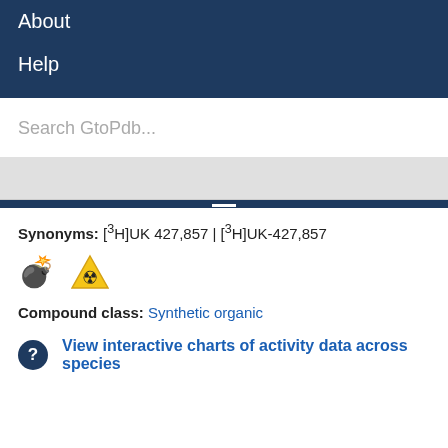About
Help
Search GtoPdb...
Synonyms: [3H]UK 427,857 | [3H]UK-427,857
[Figure (illustration): Bomb emoji icon with spark and radiation hazard triangle icon]
Compound class: Synthetic organic
View interactive charts of activity data across species